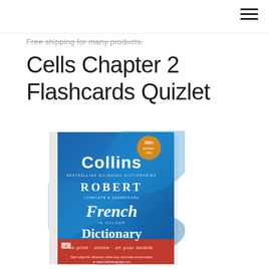Free shipping for many products.
Cells Chapter 2 Flashcards Quizlet
[Figure (photo): Cover of Collins Robert French Dictionary — blue cover with red accent, showing title text: Collins, ROBERT, French, Dictionary, in print · online · on your mobile, with a 30th anniversary badge.]